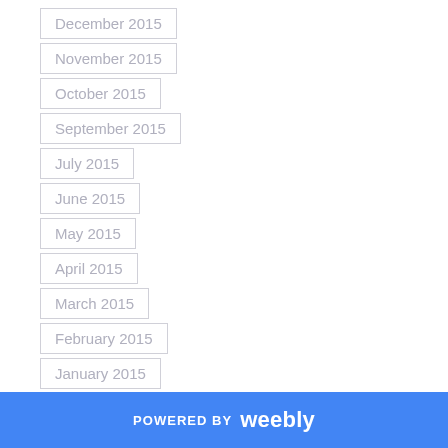December 2015
November 2015
October 2015
September 2015
July 2015
June 2015
May 2015
April 2015
March 2015
February 2015
January 2015
December 2014
November 2014
POWERED BY weebly